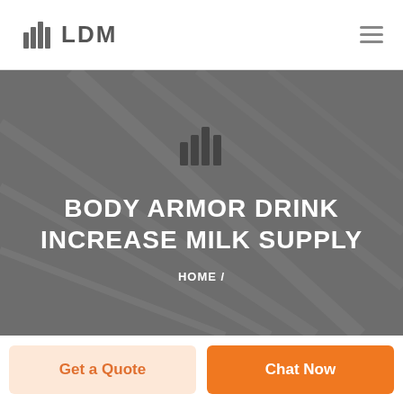LDM
[Figure (other): Hero banner with a gray architectural ceiling/structure photo overlay, LDM logo icon centered, large white uppercase title text 'BODY ARMOR DRINK INCREASE MILK SUPPLY', and breadcrumb 'HOME /']
BODY ARMOR DRINK INCREASE MILK SUPPLY
HOME /